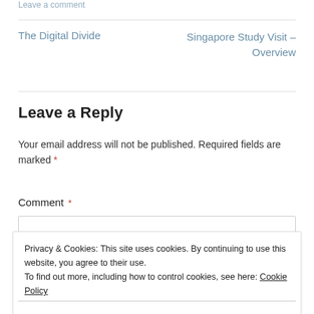Leave a comment
The Digital Divide
Singapore Study Visit – Overview
Leave a Reply
Your email address will not be published. Required fields are marked *
Comment *
Privacy & Cookies: This site uses cookies. By continuing to use this website, you agree to their use.
To find out more, including how to control cookies, see here: Cookie Policy
Close and accept